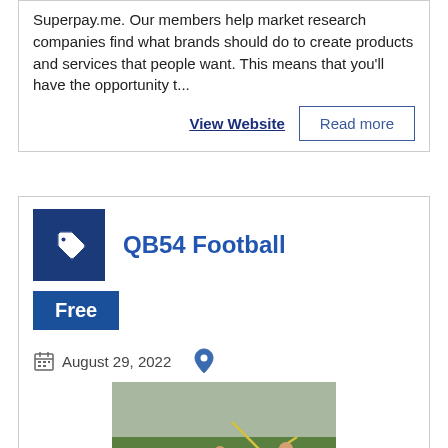Superpay.me. Our members help market research companies find what brands should do to create products and services that people want. This means that you'll have the opportunity t...
View Website
Read more
QB54 Football
Free
August 29, 2022
[Figure (photo): Photo of people playing football on a grass field]